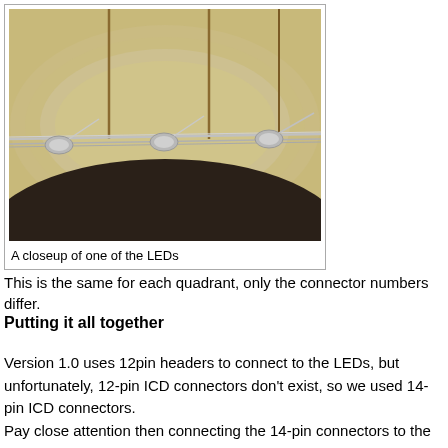[Figure (photo): A closeup photograph of one of the LEDs mounted on a wooden surface, showing wiring and connectors]
A closeup of one of the LEDs
This is the same for each quadrant, only the connector numbers differ.
Putting it all together
Version 1.0 uses 12pin headers to connect to the LEDs, but unfortunately, 12-pin ICD connectors don't exist, so we used 14-pin ICD connectors.
Pay close attention then connecting the 14-pin connectors to the